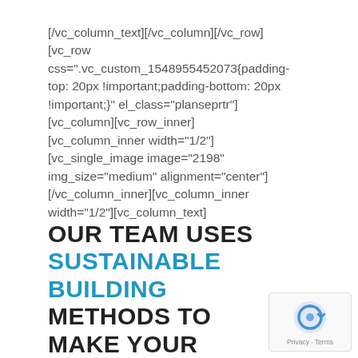[/vc_column_text][/vc_column][/vc_row][vc_row css=".vc_custom_1548955452073{padding-top: 20px !important;padding-bottom: 20px !important;}" el_class="planseprtr"][vc_column][vc_row_inner][vc_column_inner width="1/2"][vc_single_image image="2198" img_size="medium" alignment="center"][/vc_column_inner][vc_column_inner width="1/2"][vc_column_text]
OUR TEAM USES SUSTAINABLE BUILDING METHODS TO MAKE YOUR